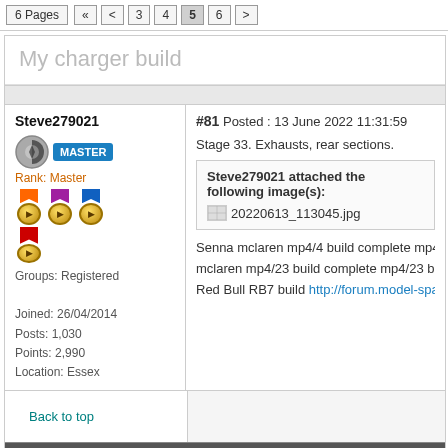6 Pages  « < 3 4 5 6 >
My charger build
Steve279021  #81 Posted : 13 June 2022 11:31:59
Stage 33. Exhausts, rear sections.
Steve279021 attached the following image(s): 20220613_113045.jpg
Senna mclaren mp4/4 build complete mp4/4 build http://forum.
mclaren mp4/23 build complete mp4/23 build http://forum.mode
Red Bull RB7 build http://forum.model-space...aspx?g=posts&
Rank: Master
Groups: Registered
Joined: 26/04/2014
Posts: 1,030
Points: 2,990
Location: Essex
Back to top
Steve279021  #82 Posted : 13 June 2022 12:27:59